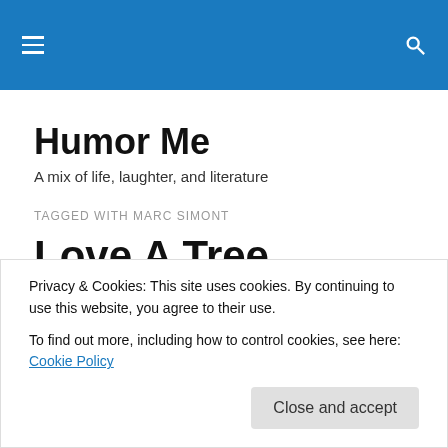Humor Me [navigation bar with hamburger menu and search icon]
Humor Me
A mix of life, laughter, and literature
TAGGED WITH MARC SIMONT
Love A Tree
Today is LOVE A TREE DAY! Every tree offers something...
Privacy & Cookies: This site uses cookies. By continuing to use this website, you agree to their use.
To find out more, including how to control cookies, see here: Cookie Policy
[Close and accept button]